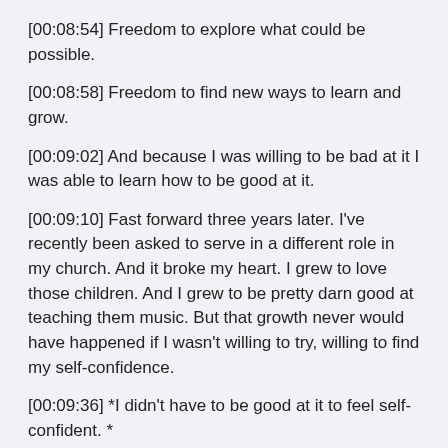[00:08:54] Freedom to explore what could be possible.
[00:08:58] Freedom to find new ways to learn and grow.
[00:09:02] And because I was willing to be bad at it I was able to learn how to be good at it.
[00:09:10] Fast forward three years later. I've recently been asked to serve in a different role in my church. And it broke my heart. I grew to love those children. And I grew to be pretty darn good at teaching them music. But that growth never would have happened if I wasn't willing to try, willing to find my self-confidence.
[00:09:36] *I didn't have to be good at it to feel self-confident. *